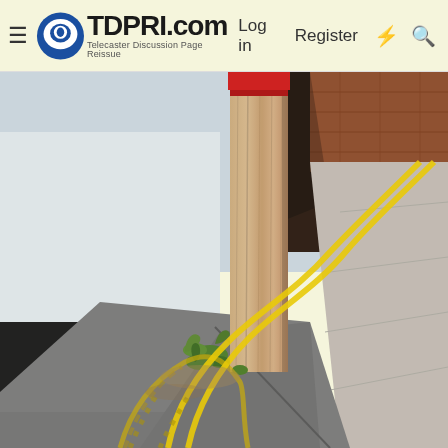TDPRI.com — Telecaster Discussion Page Reissue — Log in | Register
[Figure (photo): Street-level photo showing a weathered wooden post/bollard at the edge of a building, with double yellow no-parking lines painted on the road surface curving around the post. The building wall is white and black painted brick. Small weeds grow at the base of the post. The road surface is asphalt. The photo is shot on a sunny day.]